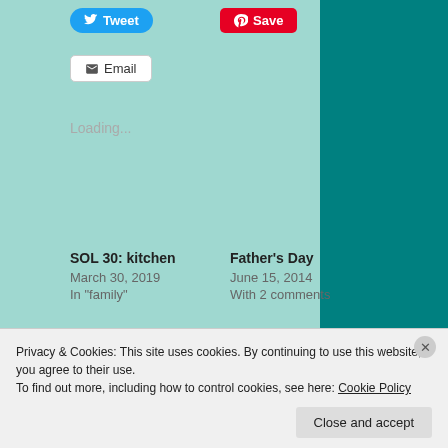Tweet
Save
Email
Loading...
SOL 30: kitchen
March 30, 2019
In "family"
Father's Day
June 15, 2014
With 2 comments
MONDAY MEMORY: gobbledy… what?
Privacy & Cookies: This site uses cookies. By continuing to use this website, you agree to their use.
To find out more, including how to control cookies, see here: Cookie Policy
Close and accept